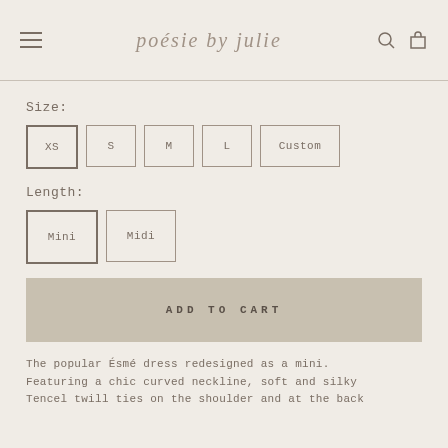poésie by julie
Size:
XS  S  M  L  Custom
Length:
Mini  Midi
ADD TO CART
The popular Ésmé dress redesigned as a mini. Featuring a chic curved neckline, soft and silky Tencel twill ties on the shoulder and at the back